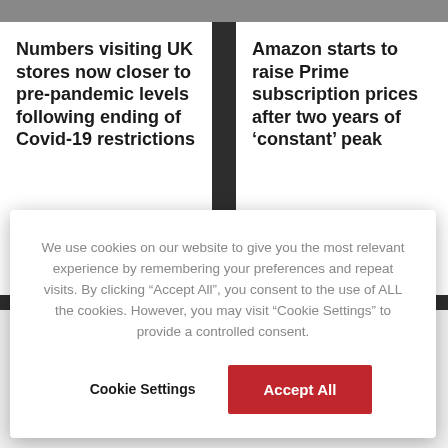[Figure (screenshot): Top strip showing partial image of people/street scene in dark background]
Numbers visiting UK stores now closer to pre-pandemic levels following ending of Covid-19 restrictions
Amazon starts to raise Prime subscription prices after two years of ‘constant’ peak
We use cookies on our website to give you the most relevant experience by remembering your preferences and repeat visits. By clicking “Accept All”, you consent to the use of ALL the cookies. However, you may visit “Cookie Settings” to provide a controlled consent.
Cookie Settings
Accept All
[Figure (illustration): Person/user icon - circle head above rounded body shape in gray]
Receive 3 newsletters per week